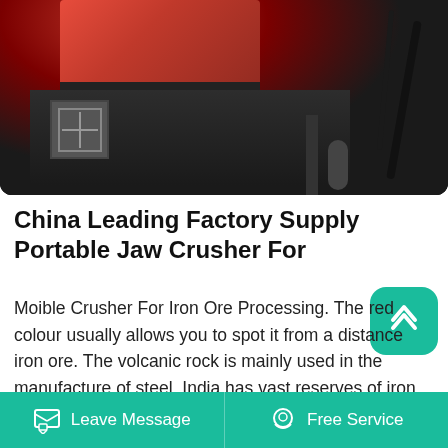[Figure (photo): Industrial jaw crusher machine with red/orange top section and dark grey body, showing mechanical components, bolts, cables, and hydraulic parts.]
China Leading Factory Supply Portable Jaw Crusher For
Moible Crusher For Iron Ore Processing. The red colour usually allows you to spot it from a distance iron ore. The volcanic rock is mainly used in the manufacture of steel. India has vast reserves of iron ore and is the second biggest steel producer in the world. The mobile screening plants are used during the extraction of the important material.
Leave Message  Free Service